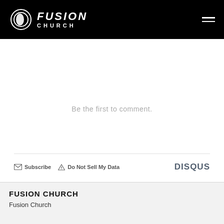FUSION CHURCH
Be the first to comment.
Subscribe  Do Not Sell My Data  DISQUS
FUSION CHURCH
Fusion Church